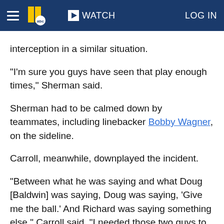WATCH  LOG IN
interception in a similar situation.
"I'm sure you guys have seen that play enough times," Sherman said.
Sherman had to be calmed down by teammates, including linebacker Bobby Wagner, on the sideline.
Carroll, meanwhile, downplayed the incident.
"Between what he was saying and what Doug [Baldwin] was saying, Doug was saying, 'Give me the ball.' And Richard was saying something else," Carroll said. "I needed those two guys to go sit down and have a little timeout and talk it over what we